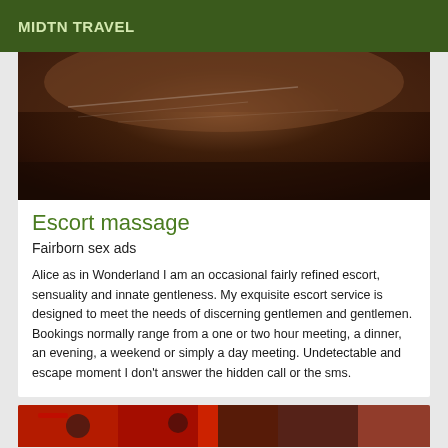MIDTN TRAVEL
[Figure (photo): Close-up photo of a dark brown leather surface with light scratch marks visible]
Escort massage
Fairborn sex ads
Alice as in Wonderland I am an occasional fairly refined escort, sensuality and innate gentleness. My exquisite escort service is designed to meet the needs of discerning gentlemen and gentlemen. Bookings normally range from a one or two hour meeting, a dinner, an evening, a weekend or simply a day meeting. Undetectable and escape moment I don't answer the hidden call or the sms.
[Figure (photo): Partial view of items on a red patterned surface]